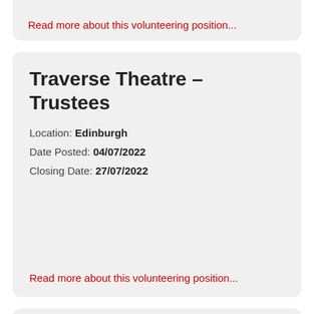Read more about this volunteering position...
Traverse Theatre – Trustees
Location: Edinburgh
Date Posted: 04/07/2022
Closing Date: 27/07/2022
Read more about this volunteering position...
Chair of Trustees/Women and...